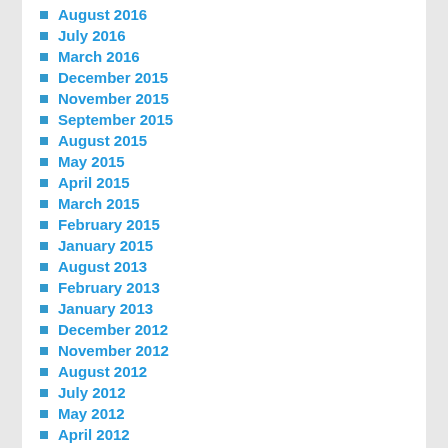August 2016
July 2016
March 2016
December 2015
November 2015
September 2015
August 2015
May 2015
April 2015
March 2015
February 2015
January 2015
August 2013
February 2013
January 2013
December 2012
November 2012
August 2012
July 2012
May 2012
April 2012
February 2012